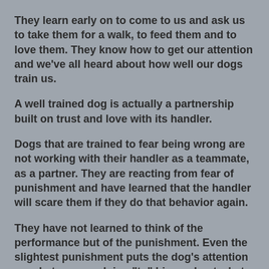They learn early on to come to us and ask us to take them for a walk, to feed them and to love them. They know how to get our attention and we've all heard about how well our dogs train us.
A well trained dog is actually a partnership built on trust and love with its handler.
Dogs that are trained to fear being wrong are not working with their handler as a teammate, as a partner. They are reacting from fear of punishment and have learned that the handler will scare them if they do that behavior again.
They have not learned to think of the performance but of the punishment. Even the slightest punishment puts the dog's attention on what you are doing "to" him and not what he is doing at the moment.